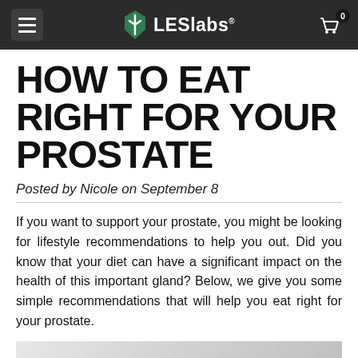LESlabs
HOW TO EAT RIGHT FOR YOUR PROSTATE
Posted by Nicole on September 8
If you want to support your prostate, you might be looking for lifestyle recommendations to help you out. Did you know that your diet can have a significant impact on the health of this important gland? Below, we give you some simple recommendations that will help you eat right for your prostate.
[Figure (photo): Partial photo of a person in white clothing, cropped at bottom of page]